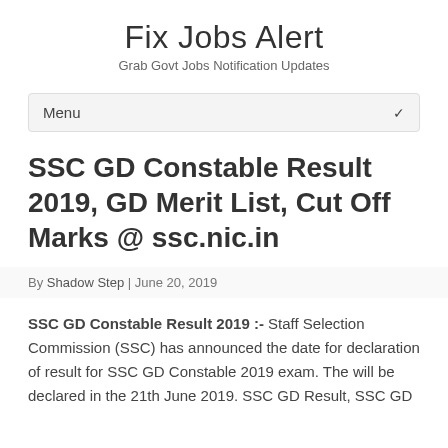Fix Jobs Alert
Grab Govt Jobs Notification Updates
SSC GD Constable Result 2019, GD Merit List, Cut Off Marks @ ssc.nic.in
By Shadow Step | June 20, 2019
SSC GD Constable Result 2019 :- Staff Selection Commission (SSC) has announced the date for declaration of result for SSC GD Constable 2019 exam. The will be declared in the 21th June 2019. SSC GD Result, SSC GD Result, SSC GD 2019 Result, SSC GD Merit List, SSC GD...